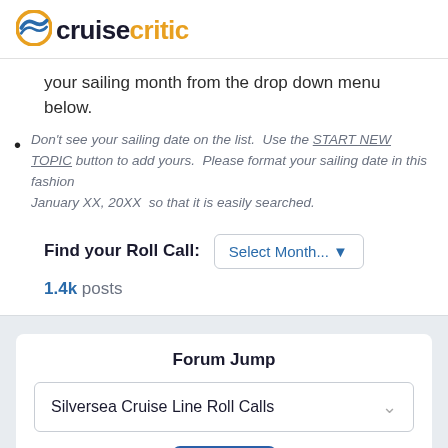cruisecritic
your sailing month from the drop down menu below.
Don't see your sailing date on the list.  Use the START NEW TOPIC button to add yours.  Please format your sailing date in this fashion  January XX, 20XX  so that it is easily searched.
Find your Roll Call:  Select Month...
1.4k posts
Forum Jump
Silversea Cruise Line Roll Calls
Go